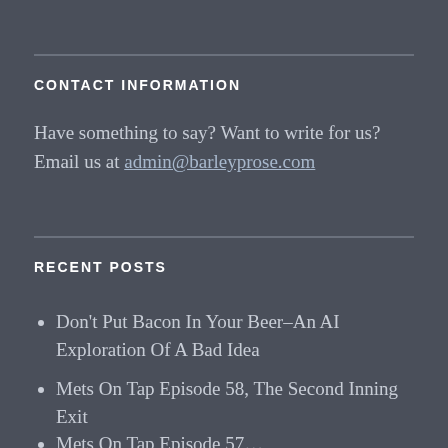CONTACT INFORMATION
Have something to say? Want to write for us? Email us at admin@barleyprose.com
RECENT POSTS
Don't Put Bacon In Your Beer–An AI Exploration Of A Bad Idea
Mets On Tap Episode 58, The Second Inning Exit
Mets On Tap Episode 57…